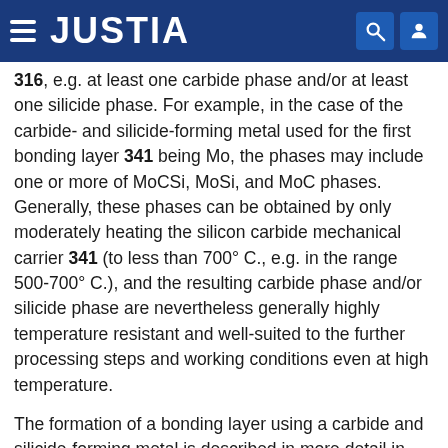JUSTIA
316, e.g. at least one carbide phase and/or at least one silicide phase. For example, in the case of the carbide- and silicide-forming metal used for the first bonding layer 341 being Mo, the phases may include one or more of MoCSi, MoSi, and MoC phases. Generally, these phases can be obtained by only moderately heating the silicon carbide mechanical carrier 341 (to less than 700° C., e.g. in the range 500-700° C.), and the resulting carbide phase and/or silicide phase are nevertheless generally highly temperature resistant and well-suited to the further processing steps and working conditions even at high temperature.
The formation of a bonding layer using a carbide and silicide-forming metal is described in more detail in US 2014/0225125 A1 which is hereby incorporated as reference.